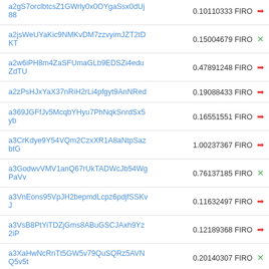| Address | Amount | Currency | Status |
| --- | --- | --- | --- |
| a2gS7orclbtcsZ1GWrly0x0OYgaSsx0dUj88 | 0.10110333 | FIRO | → |
| a2jsWeUYaKic9NMKvDM7zzvyimJZT2tDKT | 0.15004679 | FIRO | ✕ |
| a2w6iPH8m4ZaSFUmaGLb9EDSZi4eduZdTU | 0.47891248 | FIRO | → |
| a2zPsHJxYaX37nRiH2rLi4pfgyt9AnNRed | 0.19088433 | FIRO | → |
| a369JGFfJv5McqbYHyu7PhNqkSnrdSx5yb | 0.16551551 | FIRO | → |
| a3CrKdye9Y54VQm2CzxXR1A8aNtpSazbtG | 1.00237367 | FIRO | → |
| a3GodwvVMV1anQ67rUkTADWcJb54WgPaVv | 0.76137185 | FIRO | ✕ |
| a3VnEons95VpJH2bepmdLcpz6pdjfSSKvJ | 0.11632497 | FIRO | → |
| a3VsB8PtYiTDZjGms8ABuGSCJAxh9Yz2iP | 0.12189368 | FIRO | → |
| a3XaHwNcRnTt5GW5v79QuSQRz5AVNQ5v5t | 0.20140307 | FIRO | ✕ |
| a3dRJ6DzJBe6X3kwKDpie168nSradJ34Va | 0.11539677 | FIRO | ✕ |
| a3i7Pb5whTAmA3YGgnJGmWD4ngZEEpspoQ | 0.12591559 | FIRO | ✕ |
| a3kTkmLbMQqKoVjhqmFGspZJQnyZhq1HEe | 0.22522496 | FIRO | → |
| a3oXbyLtTt4yzE3LeVRV67D5c2ieMSc9Q4 | 0.14664363 | FIRO | → |
| a3pKUiNNyX8jbL1qHtuv9Seq1fHNZRsULn | 0.13210298 | FIRO | ✕ |